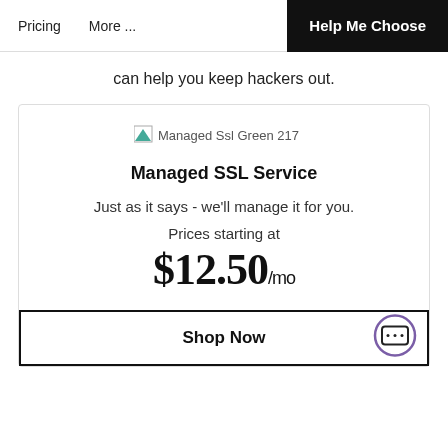Pricing   More ...   Help Me Choose
can help you keep hackers out.
[Figure (illustration): Managed Ssl Green 217 product image placeholder]
Managed SSL Service
Just as it says - we'll manage it for you.
Prices starting at
$12.50/mo
Shop Now